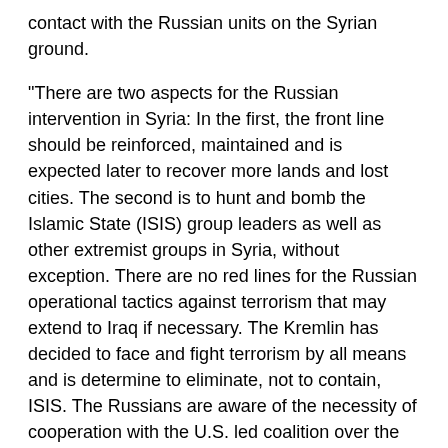contact with the Russian units on the Syrian ground.
“There are two aspects for the Russian intervention in Syria: In the first, the front line should be reinforced, maintained and is expected later to recover more lands and lost cities. The second is to hunt and bomb the Islamic State (ISIS) group leaders as well as other extremist groups in Syria, without exception. There are no red lines for the Russian operational tactics against terrorism that may extend to Iraq if necessary. The Kremlin has decided to face and fight terrorism by all means and is determine to eliminate, not to contain, ISIS. The Russians are aware of the necessity of cooperation with the U.S. led coalition over the sky of Syria to prevent unnecessarily accidents ”, the source said.
The senior commander explained, “Israel and the United States are also concerned about the possibility that Hezbollah could benefit from the advanced Russian military equipment pouring into Syria. As far as it concerns us, Damascus and Hezbollah are strategically linked and share the same destiny. Any sophisticated weapon owned by Syria and Iran that an organized but irregular force, like Hezbollah, can use in case of war against Israel is already in our possession. Israel is raising the alarm by saying